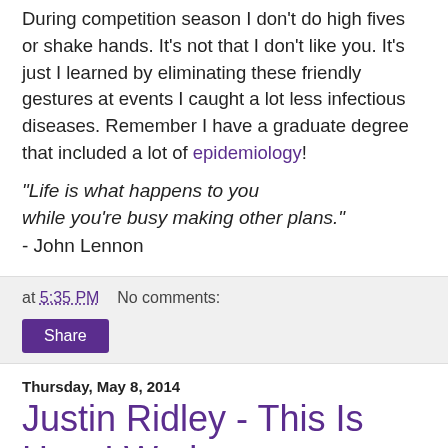During competition season I don't do high fives or shake hands. It's not that I don't like you. It's just I learned by eliminating these friendly gestures at events I caught a lot less infectious diseases. Remember I have a graduate degree that included a lot of epidemiology!
“Life is what happens to you while you’re busy making other plans.”
- John Lennon
at 5:35 PM    No comments:
Share
Thursday, May 8, 2014
Justin Ridley - This Is How I Work
Justin Ridley is our second mentor from FRC#118 The Robonauts. He is another FIRST success story, having started on a FIRST team in high school, mentored a team in college, started his career as an engineer, and continues to